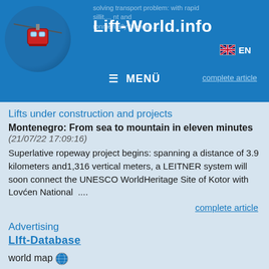Lift-World.info | EN | ≡ MENÜ | complete article
Lifts under construction and projects
Montenegro: From sea to mountain in eleven minutes (21/07/22 17:09:16) Superlative ropeway project begins: spanning a distance of 3.9 kilometers and1,316 vertical meters, a LEITNER system will soon connect the UNESCO WorldHeritage Site of Kotor with Lovćen National  ....
complete article
Advertising
LIft-Database
world map